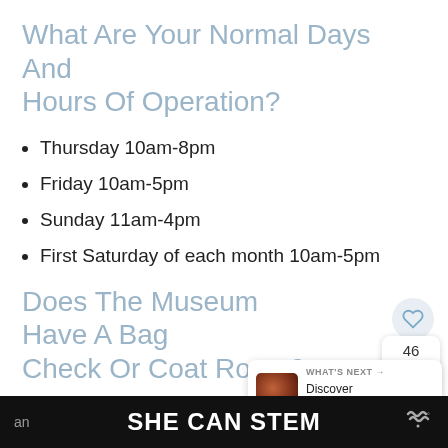What Are Your Normal Days And Hours Of Operation?
Thursday 10am-8pm
Friday 10am-5pm
Sunday 11am-4pm
First Saturday of each month 10am-5pm
Does The Museum Have A Bag Check Or Coat Room?
The museum has a coat rack availab...
come, first serve basis. Items are not attended
SHE CAN STEM